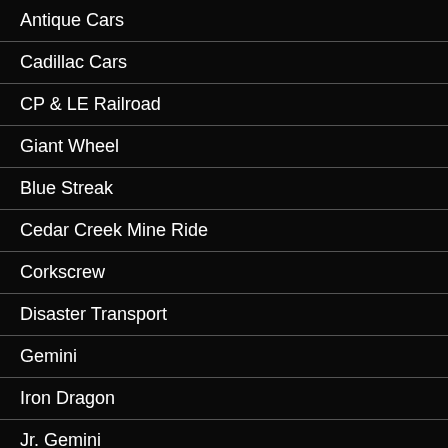Antique Cars
Cadillac Cars
CP & LE Railroad
Giant Wheel
Blue Streak
Cedar Creek Mine Ride
Corkscrew
Disaster Transport
Gemini
Iron Dragon
Jr. Gemini
Magnum XL-200
Mantis